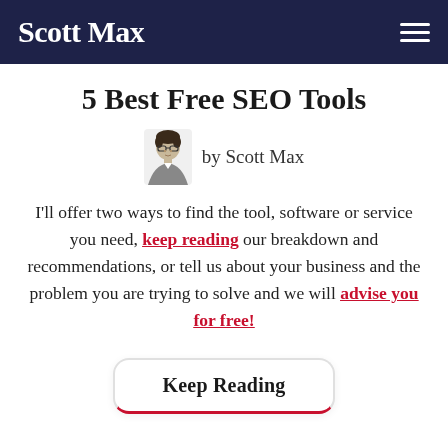Scott Max
5 Best Free SEO Tools
by Scott Max
I'll offer two ways to find the tool, software or service you need, keep reading our breakdown and recommendations, or tell us about your business and the problem you are trying to solve and we will advise you for free!
Keep Reading